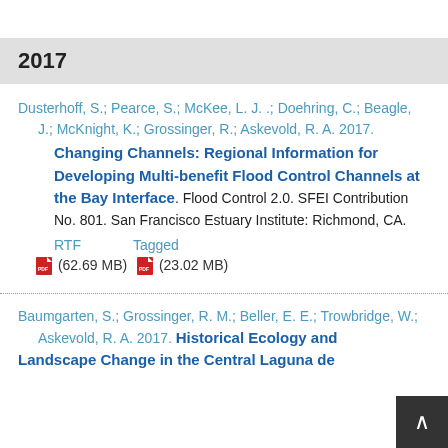2017
Dusterhoff, S.; Pearce, S.; McKee, L. J. .; Doehring, C.; Beagle, J.; McKnight, K.; Grossinger, R.; Askevold, R. A. 2017. Changing Channels: Regional Information for Developing Multi-benefit Flood Control Channels at the Bay Interface. Flood Control 2.0. SFEI Contribution No. 801. San Francisco Estuary Institute: Richmond, CA.
RTF    Tagged
(62.69 MB)  (23.02 MB)
Baumgarten, S.; Grossinger, R. M.; Beller, E. E.; Trowbridge, W.; Askevold, R. A. 2017. Historical Ecology and Landscape Change in the Central Laguna de